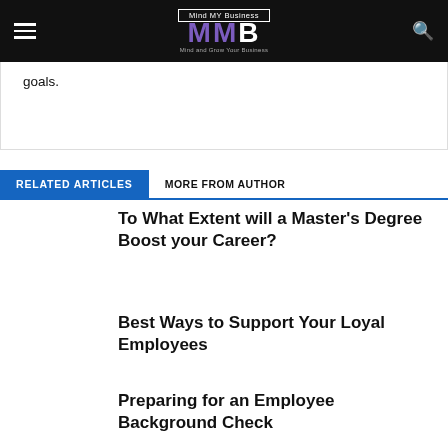Mind MY Business MMB
goals.
RELATED ARTICLES
MORE FROM AUTHOR
To What Extent will a Master’s Degree Boost your Career?
Best Ways to Support Your Loyal Employees
Preparing for an Employee Background Check